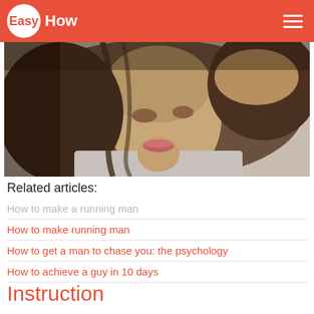Easy How
[Figure (photo): Close-up photo of a young woman with dark brown wavy hair, resting her head on her hand, looking at the camera with a relaxed expression.]
Related articles:
How to make a running man
How to make running man
How to get a man to chase you: the psychology
How to achieve a guy in 10 days
Instruction
The most effective and proven way to get